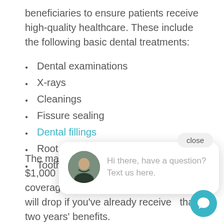beneficiaries to ensure patients receive high-quality healthcare. These include the following basic dental treatments:
Dental examinations
X-rays
Cleanings
Fissure sealing
Dental fillings
Root can[al treatment]
Tooth ex[tractions]
The maximum benefit for dental care is $1,000 per child every year. The coverage limit can't exce[ed this] amount and will drop if you've already receive[d more] than two years' benefits.
[Figure (screenshot): Customer support chat popup with avatar photo of a person and text 'Hi there, have a question? Text us here.' with a close button and a teal chat bubble FAB icon.]